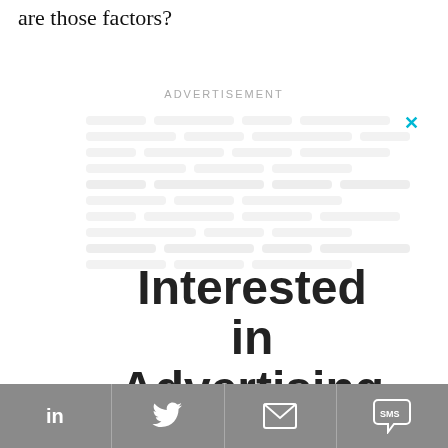are those factors?
ADVERTISEMENT
[Figure (infographic): Advertisement banner: 'Interested in Advertising on SEJ?' with a red 'SHOP SEJ ADS' button and a blurred background of text/images. Close button (X) in top right.]
LinkedIn | Twitter | Email | SMS social sharing buttons